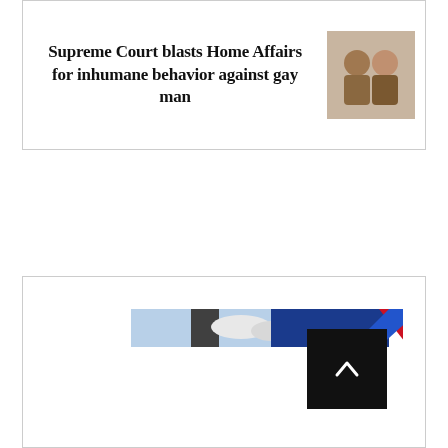Supreme Court blasts Home Affairs for inhumane behavior against gay man
[Figure (photo): Two people photographed together, likely a couple]
[Figure (photo): Banner image with sky/building on left and blue and red diagonal stripe graphic on right]
[Figure (other): Black back-to-top button with upward chevron arrow]